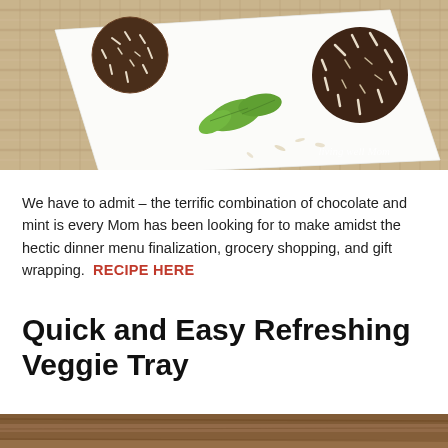[Figure (photo): Chocolate mint truffles rolled in coconut on a white rectangular plate with a sprig of fresh mint, placed on a woven burlap mat. Watermark reads 'living well Mom' in the bottom right corner.]
We have to admit – the terrific combination of chocolate and mint is every Mom has been looking for to make amidst the hectic dinner menu finalization, grocery shopping, and gift wrapping.  RECIPE HERE
Quick and Easy Refreshing Veggie Tray
[Figure (photo): Partial view of a wooden surface / table — the beginning of a second food photo.]